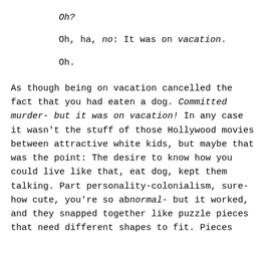Oh?
Oh, ha, no: It was on vacation.
Oh.
As though being on vacation cancelled the fact that you had eaten a dog. Committed murder- but it was on vacation! In any case it wasn't the stuff of those Hollywood movies between attractive white kids, but maybe that was the point: The desire to know how you could live like that, eat dog, kept them talking. Part personality-colonialism, sure- how cute, you're so abnormal- but it worked, and they snapped together like puzzle pieces that need different shapes to fit. Pieces